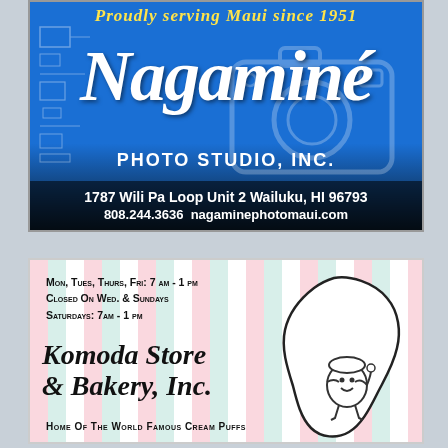[Figure (logo): Nagamine Photo Studio Inc. advertisement on blue background with camera graphic and blueprint-style decorations. Script logo text reads Nagamine in white cursive, with PHOTO STUDIO, INC. below. Address: 1787 Wili Pa Loop Unit 2 Wailuku, HI 96793, phone 808.244.3636, website nagaminephotomaui.com. Top text: Proudly serving Maui since 1951.]
[Figure (logo): Komoda Store and Bakery Inc. advertisement on white background with pink and mint vertical stripes. Hours listed: Mon, Tues, Thurs, Fri: 7 am - 1 pm / Closed On Wed. & Sundays / Saturdays: 7am - 1 pm. Cursive logo text: Komoda Store & Bakery, Inc. Tagline: Home Of The World Famous Cream Puffs. Mascot illustration of a cartoon cream puff character on Maui island outline.]